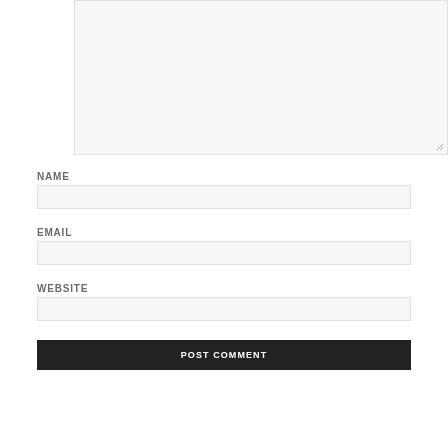[Figure (screenshot): Comment text area input box with resize handle at bottom right]
NAME
[Figure (screenshot): Name input field]
EMAIL
[Figure (screenshot): Email input field]
WEBSITE
[Figure (screenshot): Website input field]
POST COMMENT